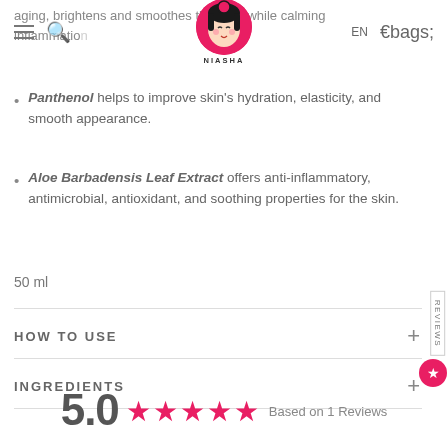aging, brightens and smoothes the skin, while calming inflammation
[Figure (logo): Niasha brand logo - circular pink badge with illustrated geisha face, text NIASHA below]
Panthenol helps to improve skin's hydration, elasticity, and smooth appearance.
Aloe Barbadensis Leaf Extract offers anti-inflammatory, antimicrobial, antioxidant, and soothing properties for the skin.
50 ml
HOW TO USE
INGREDIENTS
5.0 ★★★★★ Based on 1 Reviews